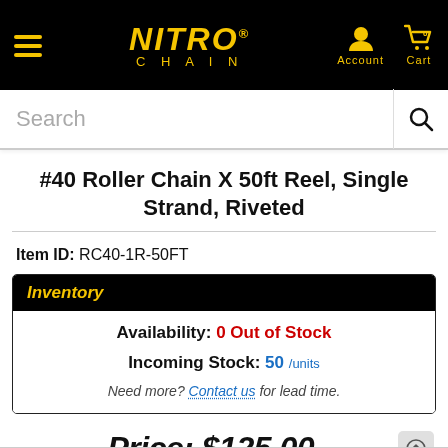NITRO CHAIN — Account | Cart
Search
#40 Roller Chain X 50ft Reel, Single Strand, Riveted
Item ID: RC40-1R-50FT
| Inventory |
| --- |
| Availability: 0 Out of Stock |
| Incoming Stock: 50 /units |
| Need more? Contact us for lead time. |
Price: $125.00 /roll